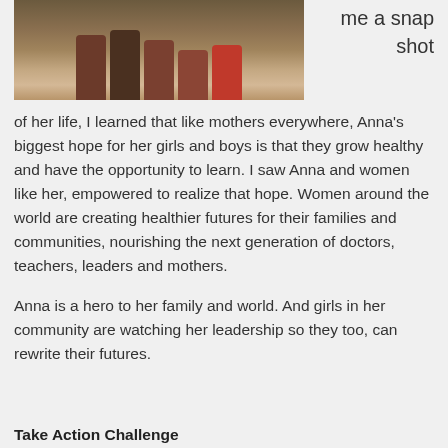[Figure (photo): Group photo of people standing outdoors in a dry, rural setting with mud/brick structures in the background]
me a snapshot
of her life, I learned that like mothers everywhere, Anna's biggest hope for her girls and boys is that they grow healthy and have the opportunity to learn. I saw Anna and women like her, empowered to realize that hope. Women around the world are creating healthier futures for their families and communities, nourishing the next generation of doctors, teachers, leaders and mothers.
Anna is a hero to her family and world. And girls in her community are watching her leadership so they too, can rewrite their futures.
Take Action Challenge